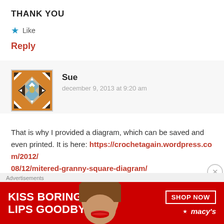THANK YOU
★ Like
Reply
[Figure (illustration): Square crochet granny square avatar image with geometric pattern in orange, brown, blue, and tan/cream colors]
Sue
december 9, 2013 at 9:20 am
That is why I provided a diagram, which can be saved and even printed. It is here: https://crochetagain.wordpress.com/2012/08/12/mitered-granny-square-diagram/ (there is a link in the post to the diagram)
Advertisements
[Figure (illustration): Macy's advertisement banner: red background with white text 'KISS BORING LIPS GOODBYE', a SHOP NOW button, and Macy's star logo. Woman's face with red lips visible.]